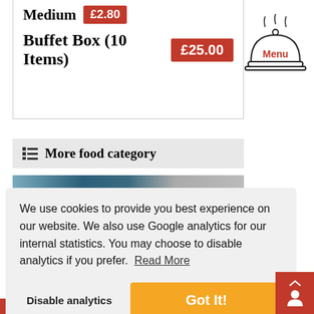Medium £2.80
Buffet Box (10 Items) £25.00
[Figure (illustration): Restaurant menu bell/cloche icon with steam lines and 'Menu' text label in red]
More food category
[Figure (photo): Partial food category image strip showing food photos]
We use cookies to provide you best experience on our website. We also use Google analytics for our internal statistics. You may choose to disable analytics if you prefer. Read More
Disable analytics
Got It!